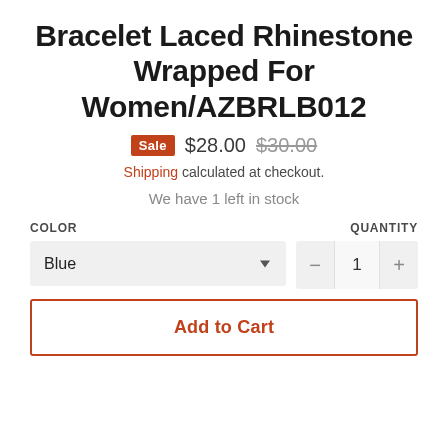Bracelet Laced Rhinestone Wrapped For Women/AZBRLB012
Sale $28.00 $30.00
Shipping calculated at checkout.
We have 1 left in stock
COLOR
QUANTITY
Blue (dropdown)
1 (quantity)
Add to Cart